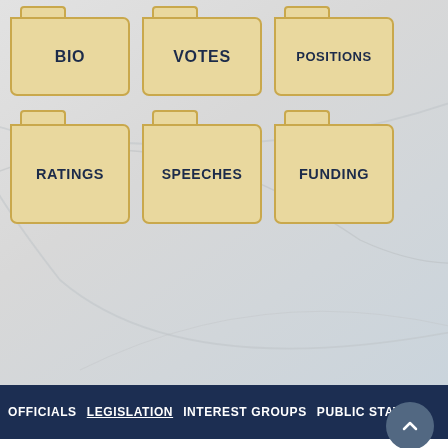[Figure (screenshot): Navigation folder icons for a government/political information website showing BIO, VOTES, POSITIONS (top row) and RATINGS, SPEECHES, FUNDING (bottom row) folder-shaped buttons on a grey background with decorative swirl lines.]
OFFICIALS  LEGISLATION  INTEREST GROUPS  PUBLIC STATI...
2017 Kansas Science Key Votes